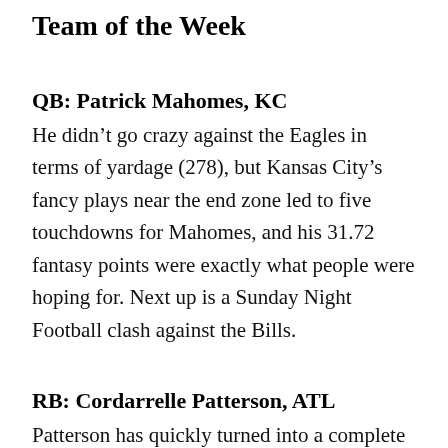Team of the Week
QB: Patrick Mahomes, KC
He didn't go crazy against the Eagles in terms of yardage (278), but Kansas City's fancy plays near the end zone led to five touchdowns for Mahomes, and his 31.72 fantasy points were exactly what people were hoping for. Next up is a Sunday Night Football clash against the Bills.
RB: Cordarrelle Patterson, ATL
Patterson has quickly turned into a complete monster with Atlanta, and yesterday was a